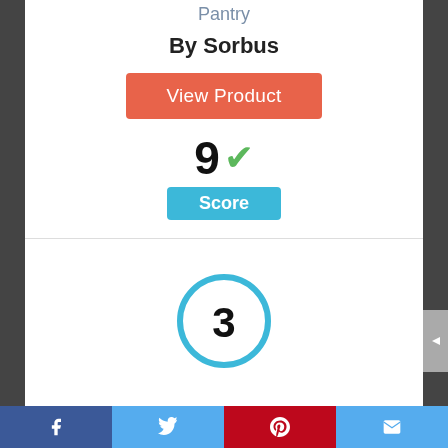Pantry
By Sorbus
View Product
[Figure (infographic): Score display showing '9' with a green checkmark, and a blue 'Score' badge below]
[Figure (infographic): Circle badge with number 3 inside, outlined in blue]
Facebook | Twitter | Pinterest | Email social share bar